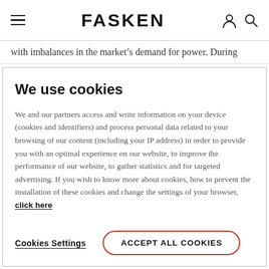FASKEN
with imbalances in the market's demand for power. During
We use cookies
We and our partners access and write information on your device (cookies and identifiers) and process personal data related to your browsing of our content (including your IP address) in order to provide you with an optimal experience on our website, to improve the performance of our website, to gather statistics and for targeted advertising. If you wish to know more about cookies, how to prevent the installation of these cookies and change the settings of your browser, click here
Cookies Settings
ACCEPT ALL COOKIES